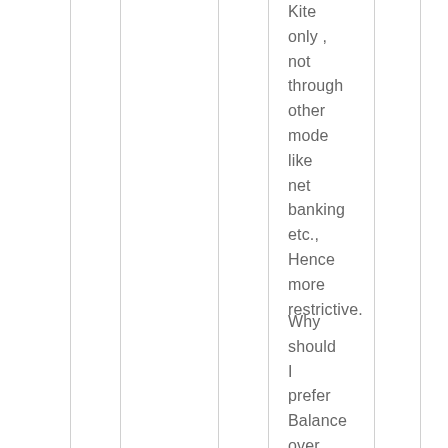Kite only , not through other mode like net banking etc., Hence more restrictive.
Why should I prefer Balance over Finozen??